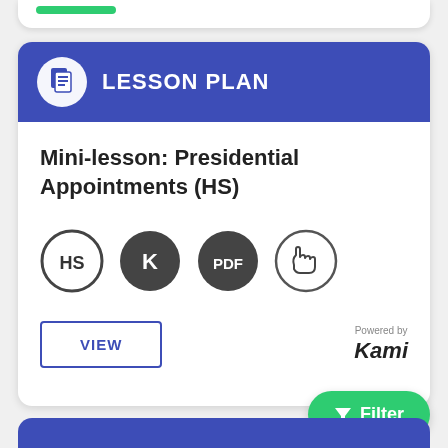LESSON PLAN
Mini-lesson: Presidential Appointments (HS)
[Figure (illustration): Four circular badge icons: HS (high school level, outlined circle), K (Kami logo, dark filled circle), PDF (dark filled circle), and a hand cursor icon (outlined circle)]
VIEW
Powered by Kami
Filter